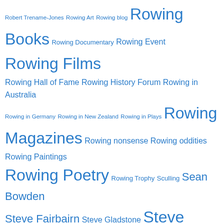Robert Trename-Jones Rowing Art Rowing blog Rowing Books Rowing Documentary Rowing Event Rowing Films Rowing Hall of Fame Rowing History Forum Rowing in Australia Rowing in Germany Rowing in New Zealand Rowing in Plays Rowing Magazines Rowing nonsense Rowing oddities Rowing Paintings Rowing Poetry Rowing Trophy Sculling Sean Bowden Steve Fairbairn Steve Gladstone Steve Redgrave Steve Trapmore Story of a Picture St Paul's School Stuart MacKenzie Thames RC The Boat Race The Boys in the Boat The Dry Season Bottom-of-the-Barrel Series (DSBOTBS) The Huskies The Social Network Thomas Doggett Thomas Doggett Coat and Badge Race Thomas Keller Medal Thomi Keller Tideway Scullers Tim Foster Tim Koch Tokyo 2020 Tom Weil Trial Eights Trinity College Cambridge Trinity College Dublin